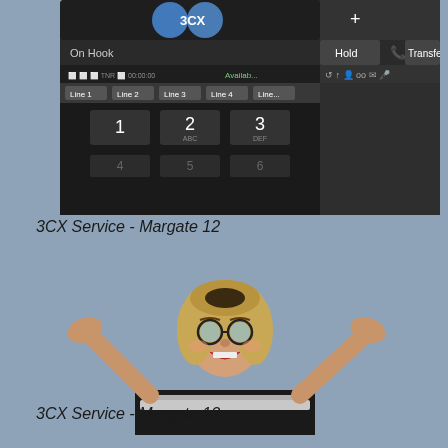[Figure (screenshot): Screenshot of 3CX phone software interface showing On Hook status, Hold and Transfer buttons, line buttons (Line 1-5), and numeric keypad with numbers 1, 2 (ABC), 3 (DEF)]
3CX Service - Margate 12
[Figure (photo): Photo of a smiling young woman with blonde shoulder-length hair and round glasses, wearing a black top, sitting behind a laptop with her hands raised in a celebratory gesture, against a gray background]
3CX Service - Margate 13